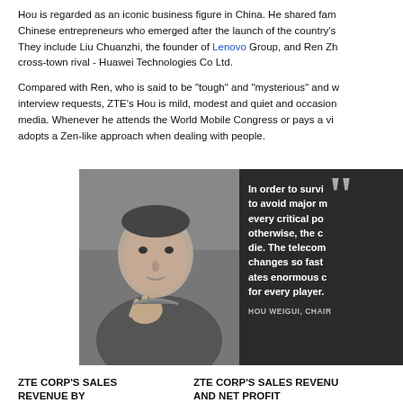Hou is regarded as an iconic business figure in China. He shared fame with Chinese entrepreneurs who emerged after the launch of the country's reform. They include Liu Chuanzhi, the founder of Lenovo Group, and Ren Zh cross-town rival - Huawei Technologies Co Ltd.
Compared with Ren, who is said to be "tough" and "mysterious" and who rejects interview requests, ZTE's Hou is mild, modest and quiet and occasionally talks to media. Whenever he attends the World Mobile Congress or pays a visit, he adopts a Zen-like approach when dealing with people.
[Figure (photo): Black and white photo of Hou Weigui, an elderly Chinese man gesturing with his hand, with a dark background panel on the right containing a pull quote in white bold text: 'In order to surv... to avoid major m... every critical po... otherwise, the c... die. The telecom changes so fast... ates enormous c... for every player.' Attribution: HOU WEIGUI, CHAIR...]
ZTE CORP'S SALES REVENUE BY REGION IN 2011
ZTE CORP'S SALES REVENUE AND NET PROFIT
Unit: billion yuan
Sales revenue